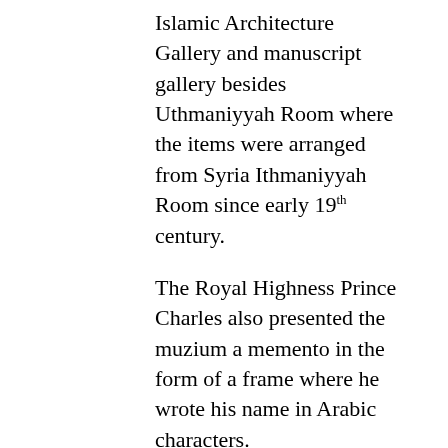Islamic Architecture Gallery and manuscript gallery besides Uthmaniyyah Room where the items were arranged from Syria Ithmaniyyah Room since early 19th century.
The Royal Highness Prince Charles also presented the muzium a memento in the form of a frame where he wrote his name in Arabic characters.
Meanwhile His Majesty Yang di-Pertuan Agong Sultan Muhammad V had granted an audience to the visiting Royal Highnesses at the Istana Negara and later welcomed by the Prime Minister Datuk Seri Najib Tun Razak and his wife Datin Seri Rosmah Mansor.
Today the Royal Highnesses visited St. Mary's Cathedral situated next to Dataran Merdeka in Kuala Lumpur. The...